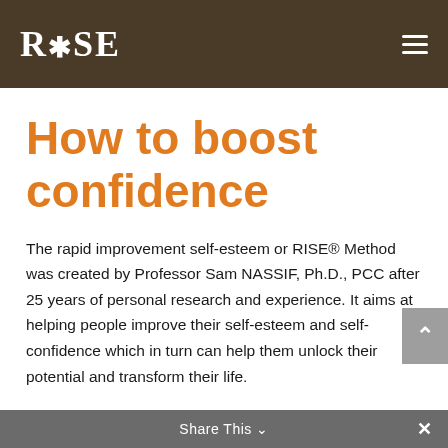RISE
How to boost confidence
The rapid improvement self-esteem or RISE® Method was created by Professor Sam NASSIF, Ph.D., PCC after 25 years of personal research and experience. It aims at helping people improve their self-esteem and self-confidence which in turn can help them unlock their potential and transform their life.